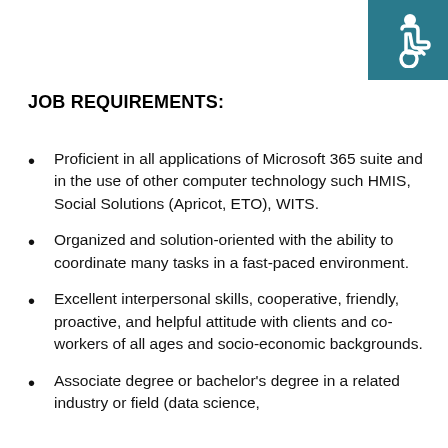[Figure (logo): Wheelchair accessibility icon (white figure on teal background) in top-right corner]
JOB REQUIREMENTS:
Proficient in all applications of Microsoft 365 suite and in the use of other computer technology such HMIS, Social Solutions (Apricot, ETO), WITS.
Organized and solution-oriented with the ability to coordinate many tasks in a fast-paced environment.
Excellent interpersonal skills, cooperative, friendly, proactive, and helpful attitude with clients and co-workers of all ages and socio-economic backgrounds.
Associate degree or bachelor's degree in a related industry or field (data science,